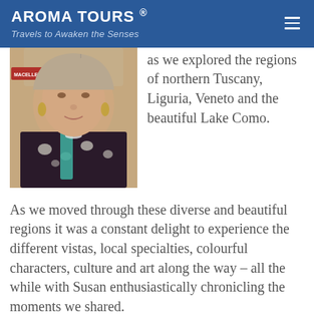AROMA TOURS ®
Travels to Awaken the Senses
[Figure (photo): Portrait photo of an older woman wearing a patterned top and turquoise necklace, with a sign visible in background reading MACELLEROA PALERMO]
as we explored the regions of northern Tuscany, Liguria, Veneto and the beautiful Lake Como.
As we moved through these diverse and beautiful regions it was a constant delight to experience the different vistas, local specialties, colourful characters, culture and art along the way – all the while with Susan enthusiastically chronicling the moments we shared.
Over the coming months it will be our great pleasure to continue introducing you to more of our Aroma Travellers who have generously shared their beautiful photos with us.